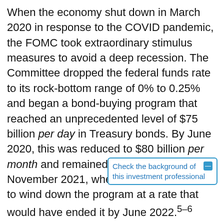When the economy shut down in March 2020 in response to the COVID pandemic, the FOMC took extraordinary stimulus measures to avoid a deep recession. The Committee dropped the federal funds rate to its rock-bottom range of 0% to 0.25% and began a bond-buying program that reached an unprecedented level of $75 billion per day in Treasury bonds. By June 2020, this was reduced to $80 billion per month and remained at that level until November 2021, when the FOMC decided to wind down the program at a rate that would have ended it by June 2022.5–6
The December decision accelerated the wind down, so the bond-buying program will end in March 2022, at which point the FOMC will likely consider raising the federal funds rate. Although it's no[t certain an] increase will occur, the December [decision implies the] rate will be in the 0.75% to 1.00% range by the end of